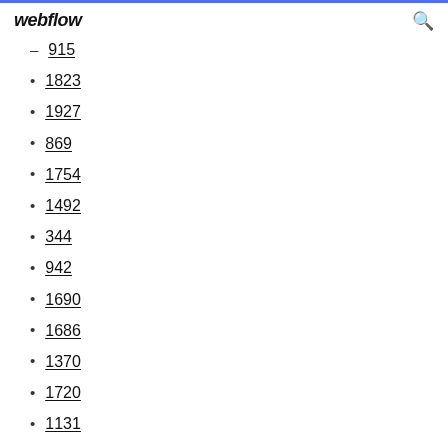webflow
915
1823
1927
869
1754
1492
344
942
1690
1686
1370
1720
1131